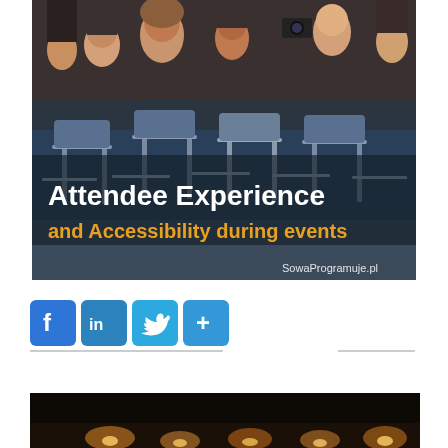[Figure (photo): Event photo showing a group of smiling young women waving at the camera, with rows of empty chairs in the foreground. Overlaid text reads 'Attendee Experience' in bold white and 'and Accessibility during events' in bold orange/amber. Bottom right shows watermark 'SowaProgramuje.pl'.]
[Figure (infographic): Social sharing icons row: Facebook (f), LinkedIn (in), Twitter (bird), and a plus/share button. All in blue square rounded icon style.]
[Figure (photo): Partial bottom image showing a dark event or stage scene with warm yellow/orange lights in background.]